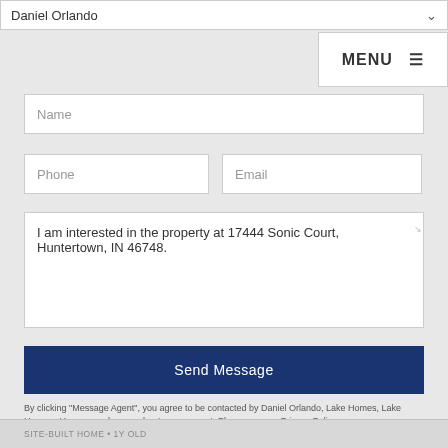Daniel Orlando
MENU
Name
Phone
Email
I am interested in the property at 17444 Sonic Court, Huntertown, IN 46748.
Send Message
By clicking "Message Agent", you agree to be contacted by Daniel Orlando, Lake Homes, Lake Houses, Houses, and more. about your request. Please see our Privacy Policy.
SITE-BUILT HOME • 1Y OLD